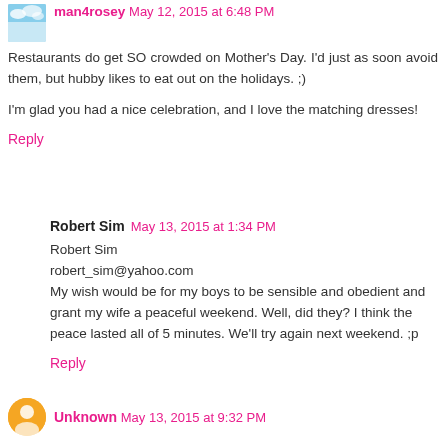man4rosey May 12, 2015 at 6:48 PM
Restaurants do get SO crowded on Mother's Day. I'd just as soon avoid them, but hubby likes to eat out on the holidays. ;)
I'm glad you had a nice celebration, and I love the matching dresses!
Reply
Robert Sim May 13, 2015 at 1:34 PM
Robert Sim
robert_sim@yahoo.com
My wish would be for my boys to be sensible and obedient and grant my wife a peaceful weekend. Well, did they? I think the peace lasted all of 5 minutes. We'll try again next weekend. ;p
Reply
Unknown May 13, 2015 at 9:32 PM